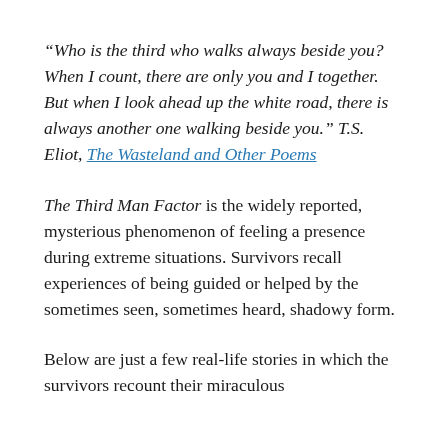“Who is the third who walks always beside you? When I count, there are only you and I together. But when I look ahead up the white road, there is always another one walking beside you.” T.S. Eliot, The Wasteland and Other Poems
The Third Man Factor is the widely reported, mysterious phenomenon of feeling a presence during extreme situations. Survivors recall experiences of being guided or helped by the sometimes seen, sometimes heard, shadowy form.
Below are just a few real-life stories in which the survivors recount their miraculous